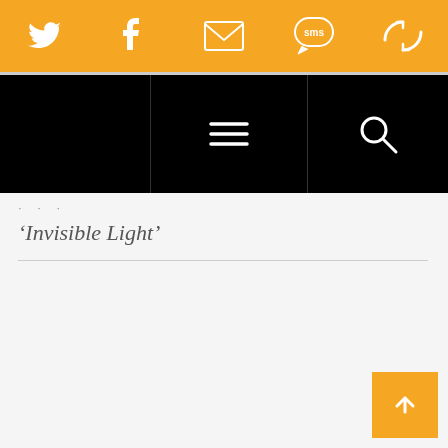Social share bar with Twitter, Facebook, Email, SMS, and RSS icons
[Figure (screenshot): Black navigation bar with hamburger menu icon in center and search icon on right]
‘Invisible Light’
[Figure (other): Orange back-to-top arrow button in bottom right corner]